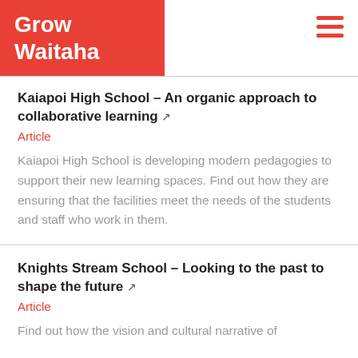Grow Waitaha
Kaiapoi High School – An organic approach to collaborative learning
Article
Kaiapoi High School is developing modern pedagogies to support their new learning spaces. Find out how they are ensuring that the facilities meet the needs of the students and staff who work in them.
Knights Stream School – Looking to the past to shape the future
Article
Find out how the vision and cultural narrative of